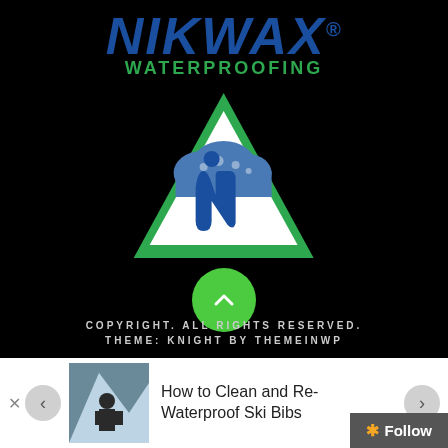[Figure (logo): Nikwax Waterproofing logo: blue italic bold NIKWAX text with registered mark, green WATERPROOFING text below, green triangle with white interior containing blue cloud and blue stylized N figure]
[Figure (other): Green circular scroll-up button with white chevron/caret pointing upward]
COPYRIGHT. ALL RIGHTS RESERVED.
THEME: KNIGHT BY THEMEINWP
[Figure (photo): Small thumbnail photo of a person in ski/outdoor gear in snowy mountain scene]
How to Clean and Re-Waterproof Ski Bibs
Follow